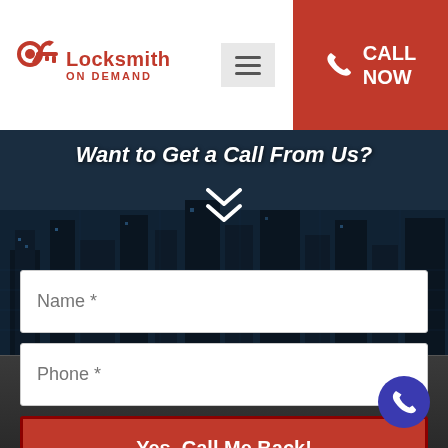[Figure (logo): Locksmith on Demand logo with key/wrench icon and red text]
Want to Get a Call From Us?
Name *
Phone *
Yes, Call Me Back!
Locksmith on Demand © 2015